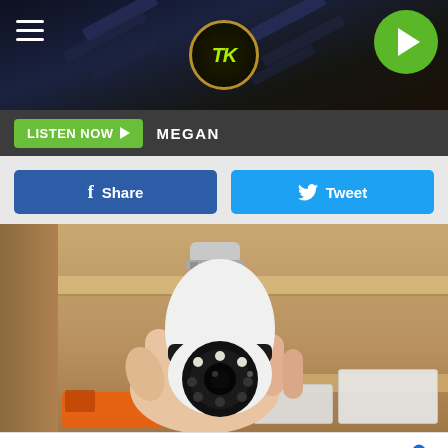[Figure (screenshot): Website header banner with dark background showing diagonal tools/equipment, a circular logo with stylized TK letters in yellow-green, a hamburger menu icon on the left, and a green play button circle on the right]
LISTEN NOW ▶  MEGAN
[Figure (other): Facebook Share button (blue) and Twitter Tweet button (light blue) side by side]
[Figure (photo): A hand holding a white security camera shaped like a light bulb with a circular lens and LED ring, against a wooden shelf background with an orange tool and white device boxes visible at the bottom]
Home |   Pickup & To Go Available   McAlister's Deli
Keillini